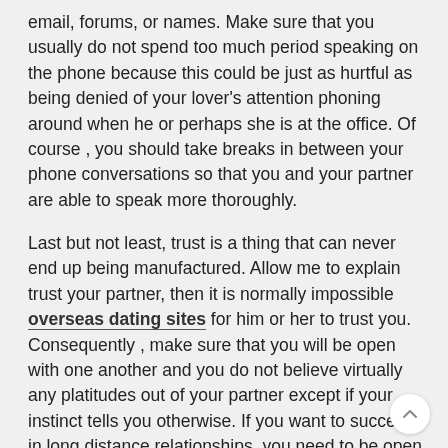email, forums, or names. Make sure that you usually do not spend too much period speaking on the phone because this could be just as hurtful as being denied of your lover's attention phoning around when he or perhaps she is at the office. Of course , you should take breaks in between your phone conversations so that you and your partner are able to speak more thoroughly.
Last but not least, trust is a thing that can never end up being manufactured. Allow me to explain trust your partner, then it is normally impossible overseas dating sites for him or her to trust you. Consequently , make sure that you will be open with one another and you do not believe virtually any platitudes out of your partner except if your instinct tells you otherwise. If you want to succeed in long distance relationships, you need to be open together with your partners with regards to trust.